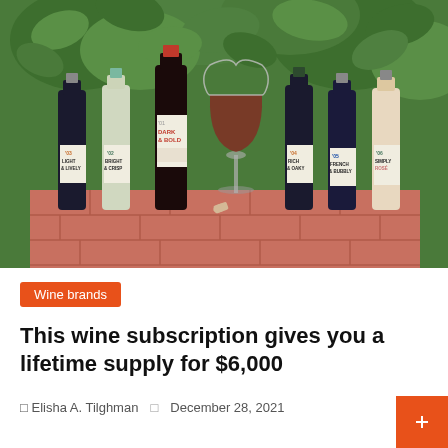[Figure (photo): Six wine bottles with labeled categories (Dark & Bold, Light & Lively, Bright & Crisp, Rich & Oaky, French & Bubbly, Simply Rosé) arranged on a brick surface next to a wine glass filled with red wine, with green foliage in the background.]
Wine brands
This wine subscription gives you a lifetime supply for $6,000
Elisha A. Tilghman   December 28, 2021